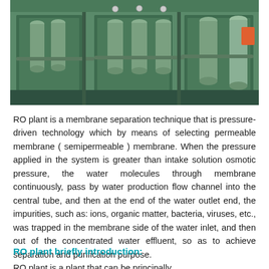[Figure (photo): Industrial RO (reverse osmosis) plant with green-painted equipment frames, cylindrical pressure vessels, stainless steel pipes, and gauges arranged in a row.]
RO plant is a membrane separation technique that is pressure-driven technology which by means of selecting permeable membrane ( semipermeable ) membrane. When the pressure applied in the system is greater than intake solution osmotic pressure, the water molecules through membrane continuously, pass by water production flow channel into the central tube, and then at the end of the water outlet end, the impurities, such as: ions, organic matter, bacteria, viruses, etc., was trapped in the membrane side of the water inlet, and then out of the concentrated water effluent, so as to achieve separation and purification purpose.
RO plant briefly introduction:
RO plant is a plant that can be principally…